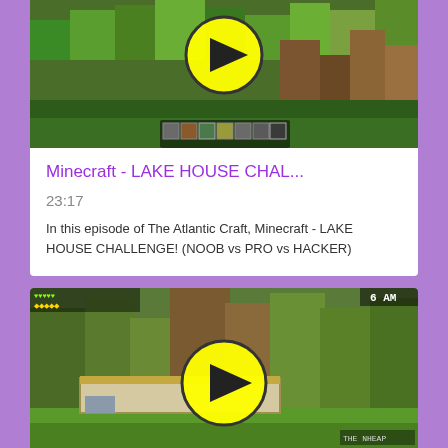[Figure (screenshot): Minecraft game screenshot showing green terrain with blocks, and a yellow play button overlay. Bottom shows inventory/hotbar UI elements.]
Minecraft - LAKE HOUSE CHAL...
23:17
In this episode of The Atlantic Craft, Minecraft - LAKE HOUSE CHALLENGE! (NOOB vs PRO vs HACKER)
[Figure (screenshot): Minecraft game screenshot showing outdoor environment with trees and a building/structure, HUD showing 6 AM time, yellow play button overlay, and THE NHEAP text in bottom right.]